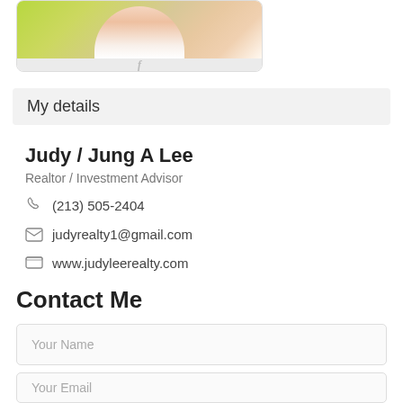[Figure (photo): Profile photo card with green/yellow banner at top, person photo cropped at top, green horizontal stripe, and Facebook icon in gray below]
My details
Judy / Jung A Lee
Realtor / Investment Advisor
(213) 505-2404
judyrealty1@gmail.com
www.judyleerealty.com
Contact Me
Your Name
Your Email